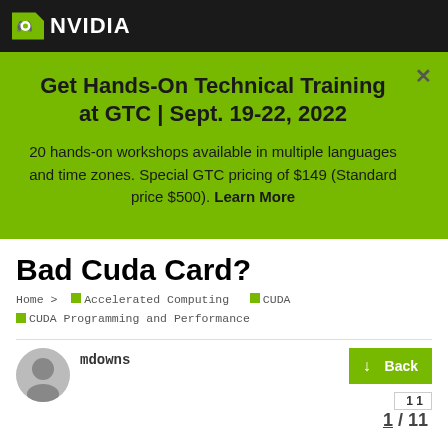NVIDIA
Get Hands-On Technical Training at GTC | Sept. 19-22, 2022
20 hands-on workshops available in multiple languages and time zones. Special GTC pricing of $149 (Standard price $500). Learn More
Bad Cuda Card?
Home > Accelerated Computing  CUDA  CUDA Programming and Performance
mdowns
Back
1 / 11